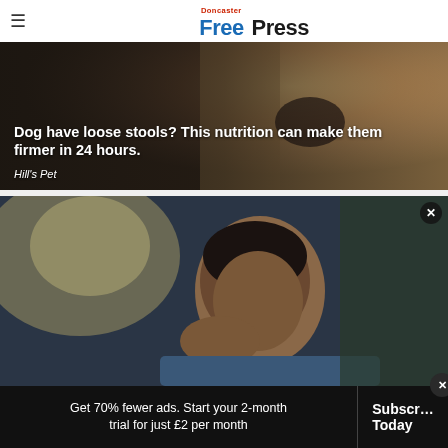Doncaster Free Press
[Figure (photo): Advertisement banner showing a Yorkshire Terrier dog closeup with overlaid text about dog nutrition for loose stools]
Dog have loose stools? This nutrition can make them firmer in 24 hours.
Hill's Pet
[Figure (photo): Advertisement showing a man resting his face on his hand looking tired or bored, with a close button (×) in top right corner]
Get 70% fewer ads. Start your 2-month trial for just £2 per month
Subscribe Today